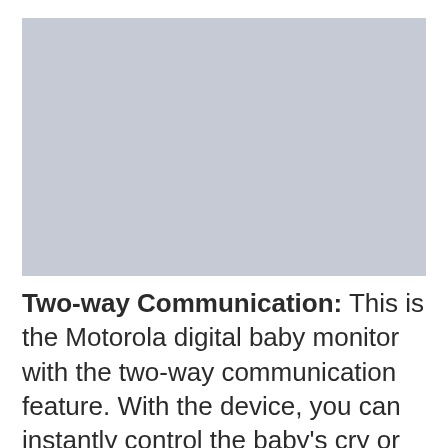[Figure (photo): Placeholder image with light blue-grey background representing a baby monitor product photo]
Two-way Communication: This is the Motorola digital baby monitor with the two-way communication feature. With the device, you can instantly control the baby's cry or scare at midnight. Also if siblings make noise